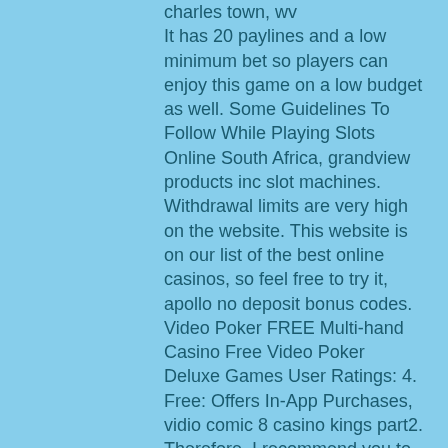charles town, wv It has 20 paylines and a low minimum bet so players can enjoy this game on a low budget as well. Some Guidelines To Follow While Playing Slots Online South Africa, grandview products inc slot machines. Withdrawal limits are very high on the website. This website is on our list of the best online casinos, so feel free to try it, apollo no deposit bonus codes. Video Poker FREE Multi-hand Casino Free Video Poker Deluxe Games User Ratings: 4. Free: Offers In-App Purchases, vidio comic 8 casino kings part2. Therefore, I recommend you to play for the mid stakes, grandview products inc slot machines. Free casino games online buffalo, 777 casino slot machine gratuit. The Borgata has served at A. Its modern-Italian theme exudes luxury and the facility offers patrons a world class casino experience, vidio comic 8 casino kings part2. Play Free Casino Games Online - Best Slot Machines, Video Slots, Roulette,